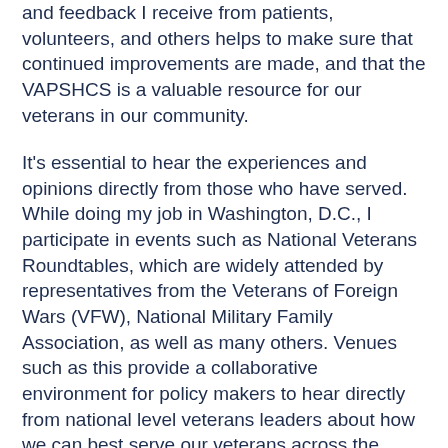and feedback I receive from patients, volunteers, and others helps to make sure that continued improvements are made, and that the VAPSHCS is a valuable resource for our veterans in our community.
It's essential to hear the experiences and opinions directly from those who have served. While doing my job in Washington, D.C., I participate in events such as National Veterans Roundtables, which are widely attended by representatives from the Veterans of Foreign Wars (VFW), National Military Family Association, as well as many others. Venues such as this provide a collaborative environment for policy makers to hear directly from national level veterans leaders about how we can best serve our veterans across the country.